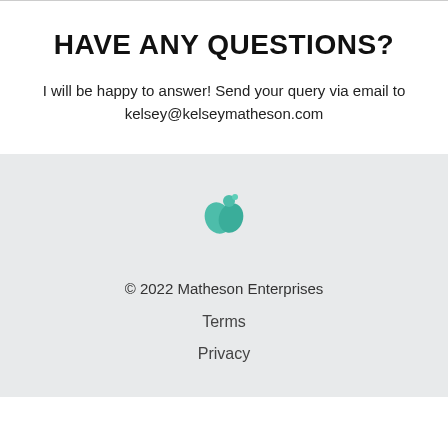HAVE ANY QUESTIONS?
I will be happy to answer! Send your query via email to kelsey@kelseymatheson.com
[Figure (logo): Teal/green leaf and person stylized logo icon for Matheson Enterprises]
© 2022 Matheson Enterprises
Terms
Privacy